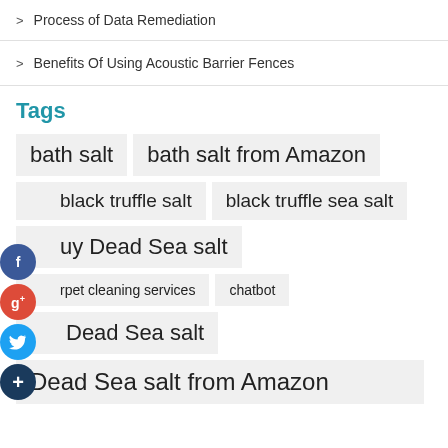> Process of Data Remediation
> Benefits Of Using Acoustic Barrier Fences
Tags
bath salt
bath salt from Amazon
black truffle salt
black truffle sea salt
buy Dead Sea salt
carpet cleaning services
chatbot
Dead Sea salt
Dead Sea salt from Amazon